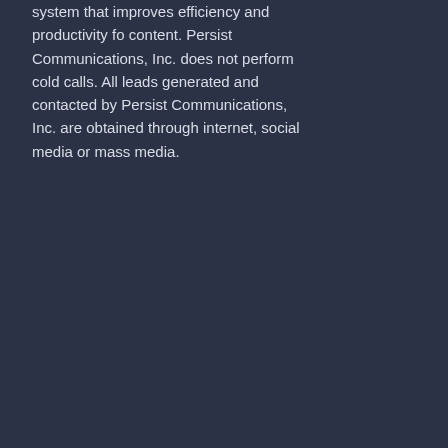system that improves efficiency and productivity fo content. Persist Communications, Inc. does not perform cold calls. All leads generated and contacted by Persist Communications, Inc. are obtained through internet, social media or mass media.
Improve Your Business?
Unified Communications: Everything You Want to Know
GET SOCIAL
[Figure (infographic): Social media icons: Facebook, Instagram, YouTube, LinkedIn]